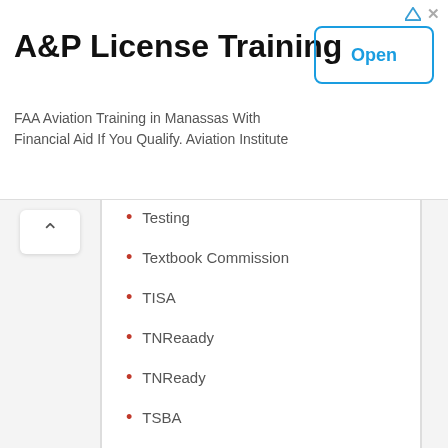[Figure (screenshot): Advertisement banner for A&P License Training. Title: 'A&P License Training'. Subtitle: 'FAA Aviation Training in Manassas With Financial Aid If You Qualify. Aviation Institute'. An 'Open' button on the right.]
Testing
Textbook Commission
TISA
TNReaady
TNReady
TSBA
TVAAS
Uncategorized
Virtual Schools
Vouchers